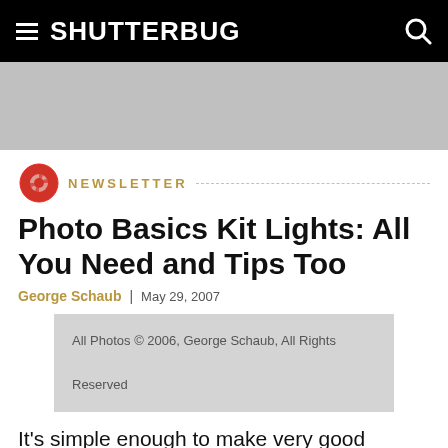SHUTTERBUG
[Figure (other): Gray advertisement banner placeholder]
NEWSLETTER
Photo Basics Kit Lights: All You Need and Tips Too
George Schaub  |  May 29, 2007
All Photos © 2006, George Schaub, All Rights Reserved
It's simple enough to make very good lighting scenarios with the kit and the guides. This shot was